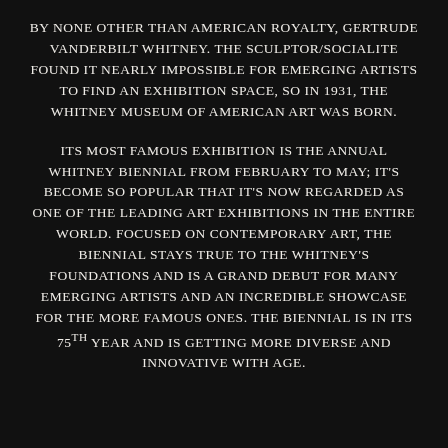BY NONE OTHER THAN AMERICAN ROYALTY, GERTRUDE VANDERBILT WHITNEY. THE SCULPTOR/SOCIALITE FOUND IT NEARLY IMPOSSIBLE FOR EMERGING ARTISTS TO FIND AN EXHIBITION SPACE, SO IN 1931, THE WHITNEY MUSEUM OF AMERICAN ART WAS BORN.
ITS MOST FAMOUS EXHIBITION IS THE ANNUAL WHITNEY BIENNIAL FROM FEBRUARY TO MAY; IT'S BECOME SO POPULAR THAT IT'S NOW REGARDED AS ONE OF THE LEADING ART EXHIBITIONS IN THE ENTIRE WORLD. FOCUSED ON CONTEMPORARY ART, THE BIENNIAL STAYS TRUE TO THE WHITNEY'S FOUNDATIONS AND IS A GRAND DEBUT FOR MANY EMERGING ARTISTS AND AN INCREDIBLE SHOWCASE FOR THE MORE FAMOUS ONES. THE BIENNIAL IS IN ITS 75TH YEAR AND IS GETTING MORE DIVERSE AND INNOVATIVE WITH AGE.